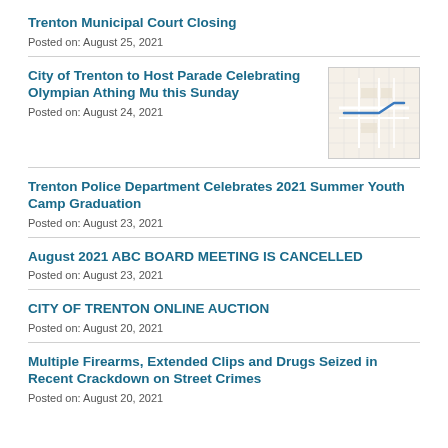Trenton Municipal Court Closing
Posted on: August 25, 2021
City of Trenton to Host Parade Celebrating Olympian Athing Mu this Sunday
[Figure (map): Small map thumbnail showing parade route in Trenton]
Posted on: August 24, 2021
Trenton Police Department Celebrates 2021 Summer Youth Camp Graduation
Posted on: August 23, 2021
August 2021 ABC BOARD MEETING IS CANCELLED
Posted on: August 23, 2021
CITY OF TRENTON ONLINE AUCTION
Posted on: August 20, 2021
Multiple Firearms, Extended Clips and Drugs Seized in Recent Crackdown on Street Crimes
Posted on: August 20, 2021